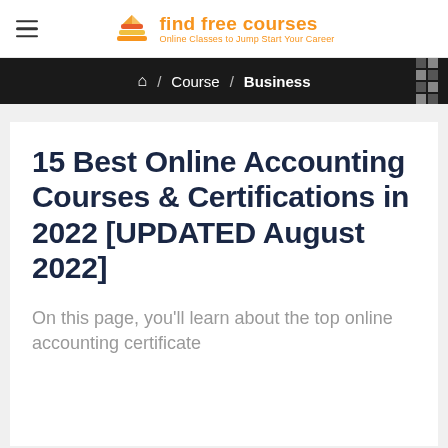find free courses – Online Classes to Jump Start Your Career
Home / Course / Business
15 Best Online Accounting Courses & Certifications in 2022 [UPDATED August 2022]
On this page, you'll learn about the top online accounting certificate